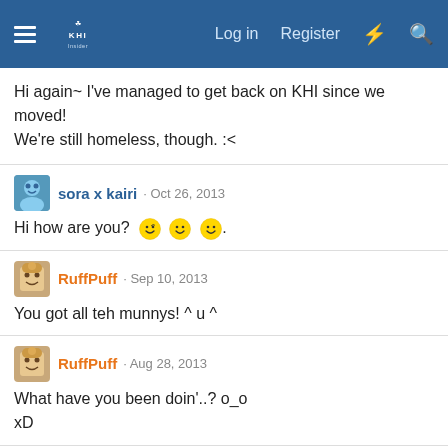KHInsider forum navigation bar with Log in, Register links
Hi again~ I've managed to get back on KHI since we moved! We're still homeless, though. :<
sora x kairi · Oct 26, 2013
Hi how are you? 😉 🙂 🙂.
RuffPuff · Sep 10, 2013
You got all teh munnys! ^ u ^
RuffPuff · Aug 28, 2013
What have you been doin'..? o_o
xD
RuffPuff · Aug 25, 2013
Hi! 😄